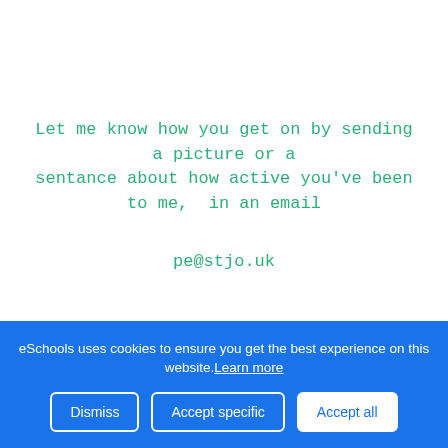Let me know how you get on by sending a picture or a sentance about how active you've been to me, in an email
pe@stjo.uk
KEEEEEEEEEEP MOVING! Mrs Turner
PE to watch and do!
The lovely Mrs Mason who ran the Mini Sports Imapct Day and the taught us fantastic playgroung games, is
eSchools uses cookies to ensure you get the best experience on this website. Learn more